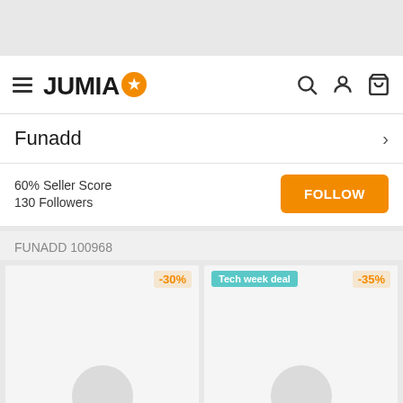JUMIA
Funadd
60% Seller Score
130 Followers
FUNADD 100968
[Figure (screenshot): Two product cards with discount badges: -30% and Tech week deal / -35%]
POPULARITY   FILTER
This website uses cookies. For further information on how we use cookies you can read our Privacy and Cookie notice